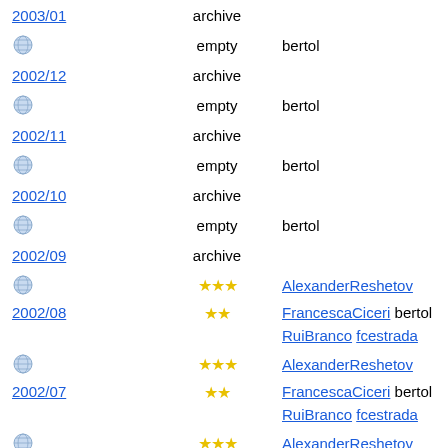2003/01  archive
[globe] empty  bertol
2002/12  archive
[globe] empty  bertol
2002/11  archive
[globe] empty  bertol
2002/10  archive
[globe] empty  bertol
2002/09  archive
[globe] ★★★  AlexanderReshetov
2002/08  ★★  FrancescaCiceri bertol RuiBranco fcestrada
[globe] ★★★  AlexanderReshetov
2002/07  ★★  FrancescaCiceri bertol RuiBranco fcestrada
[globe] ★★★  AlexanderReshetov
2002/06  ★★  FrancescaCiceri bertol RuiBranco fcestrada
[globe] ★★★  AlexanderReshetov